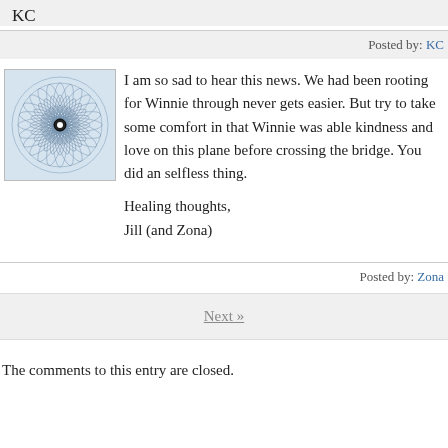KC
Posted by: KC
[Figure (illustration): Avatar image showing a geometric spiral/mandala pattern in blue and white, bordered by a thin rectangle]
I am so sad to hear this news. We had been rooting for Winnie through never gets easier. But try to take some comfort in that Winnie was able kindness and love on this plane before crossing the bridge. You did an selfless thing.

Healing thoughts,
Jill (and Zona)
Posted by: Zona
Next »
The comments to this entry are closed.